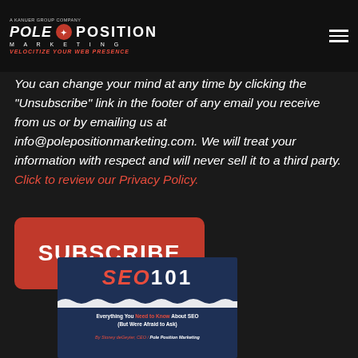Pole Position Marketing - A Kanuer Group Company - Velocitize Your Web Presence
You can change your mind at any time by clicking the "Unsubscribe" link in the footer of any email you receive from us or by emailing us at info@polepositionmarketing.com. We will treat your information with respect and will never sell it to a third party. Click to review our Privacy Policy.
[Figure (other): Red Subscribe button]
[Figure (other): Book cover for SEO 101: Everything You Need to Know About SEO (But Were Afraid to Ask) by Stoney deGeyter, CEO / Pole Position Marketing]